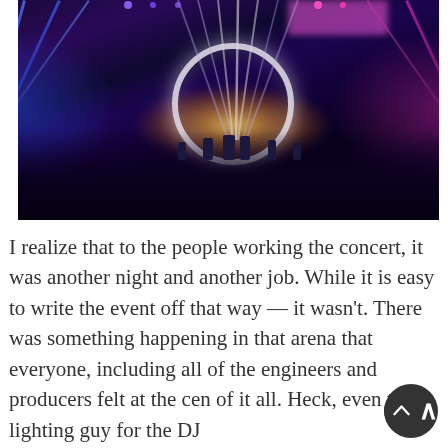[Figure (photo): Concert photo showing a band performing on a brightly lit stage with blue and pink/magenta light beams, a large circular ring light on stage, and a crowd of silhouetted people in the foreground.]
I realize that to the people working the concert, it was another night and another job. While it is easy to write the event off that way — it wasn't. There was something happening in that arena that everyone, including all of the engineers and producers felt at the cen of it all. Heck, even the lighting guy for the DJ